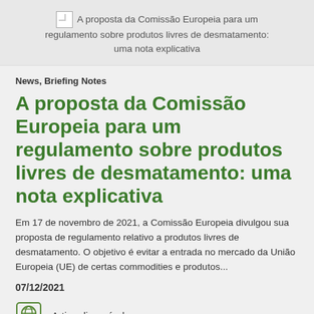A proposta da Comissão Europeia para um regulamento sobre produtos livres de desmatamento: uma nota explicativa
News, Briefing Notes
A proposta da Comissão Europeia para um regulamento sobre produtos livres de desmatamento: uma nota explicativa
Em 17 de novembro de 2021, a Comissão Europeia divulgou sua proposta de regulamento relativo a produtos livres de desmatamento. O objetivo é evitar a entrada no mercado da União Europeia (UE) de certas commodities e produtos...
07/12/2021
Artigo disponível em: